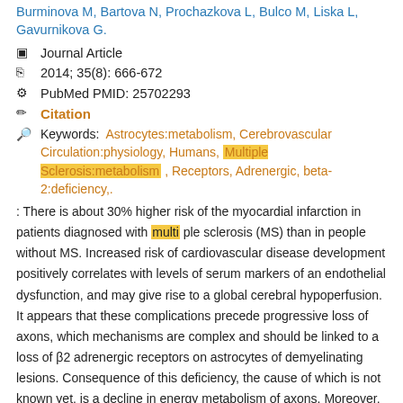Burminova M, Bartova N, Prochazkova L, Bulco M, Liska L, Gavurnikova G.
Journal Article
2014; 35(8): 666-672
PubMed PMID: 25702293
Citation
Keywords: Astrocytes:metabolism, Cerebrovascular Circulation:physiology, Humans, Multiple Sclerosis:metabolism, Receptors, Adrenergic, beta-2:deficiency,.
: There is about 30% higher risk of the myocardial infarction in patients diagnosed with multi ple sclerosis (MS) than in people without MS. Increased risk of cardiovascular disease development positively correlates with levels of serum markers of an endothelial dysfunction, and may give rise to a global cerebral hypoperfusion. It appears that these complications precede progressive loss of axons, which mechanisms are complex and should be linked to a loss of β2 adrenergic receptors on astrocytes of demyelinating lesions. Consequence of this deficiency, the cause of which is not known yet, is a decline in energy metabolism of axons. Moreover, the loss of